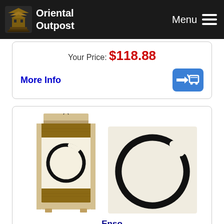Oriental Outpost | Menu
Your Price: $118.88
More Info
[Figure (photo): Enso Buddhist Circle Calligraphy Wall Scroll product images: left shows full wall scroll with beige silk brocade border and enso circle painted in black ink; right shows close-up of the enso circle brushstroke on cream paper]
Enso Buddhist Circle Calligraphy Wall Scroll
Gallery Price: $150.00